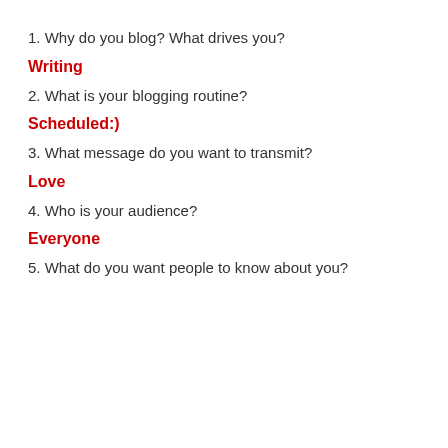1. Why do you blog? What drives you?
Writing
2. What is your blogging routine?
Scheduled:)
3. What message do you want to transmit?
Love
4. Who is your audience?
Everyone
5. What do you want people to know about you?